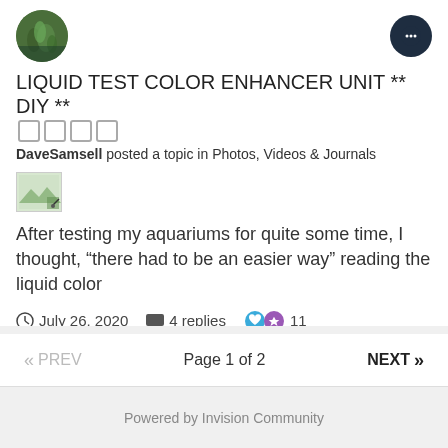[Figure (photo): User avatar circle with green plant/aquarium image]
LIQUID TEST COLOR ENHANCER UNIT ** DIY **
DaveSamsell posted a topic in Photos, Videos & Journals
[Figure (photo): Small placeholder image thumbnail with green background]
After testing my aquariums for quite some time, I thought, “there had to be an easier way” reading the liquid color
July 26, 2020   4 replies   11
testing   diy   (and 3 more)
Page 1 of 2
Powered by Invision Community